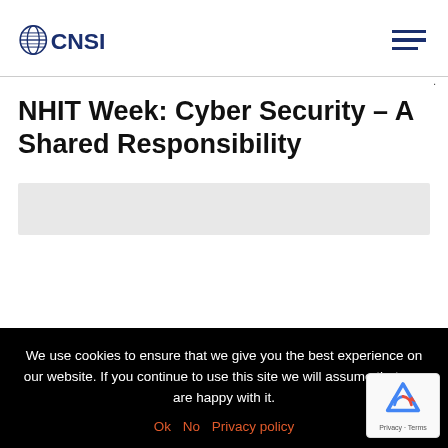OCNSI
NHIT Week: Cyber Security – A Shared Responsibility
We use cookies to ensure that we give you the best experience on our website. If you continue to use this site we will assume that you are happy with it. Ok No Privacy policy
[Figure (logo): reCAPTCHA logo with Privacy - Terms text]